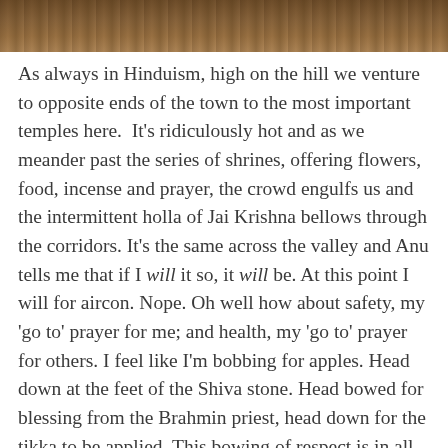[Figure (photo): A photo strip at the top of the page showing a warm brown-toned interior scene, partially cropped.]
As always in Hinduism, high on the hill we venture to opposite ends of the town to the most important temples here.  It's ridiculously hot and as we meander past the series of shrines, offering flowers, food, incense and prayer, the crowd engulfs us and the intermittent holla of Jai Krishna bellows through the corridors. It's the same across the valley and Anu tells me that if I will it so, it will be. At this point I will for aircon. Nope. Oh well how about safety, my 'go to' prayer for me; and health, my 'go to' prayer for others. I feel like I'm bobbing for apples. Head down at the feet of the Shiva stone. Head bowed for blessing from the Brahmin priest, head down for the tikka to be applied. This bowing of respect is in all religions. Bowing down in the pews of Catholic churches; bowing down in prostration in the mosques.